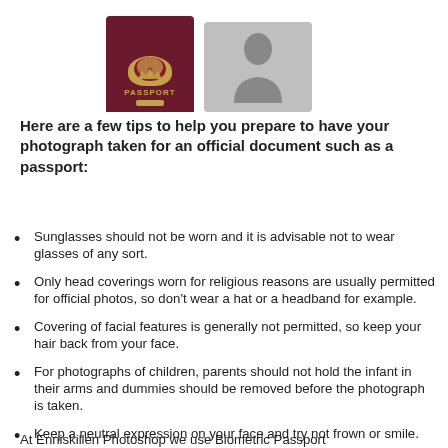[Figure (illustration): A UK passport cover (dark red/maroon) shown alongside a grey silhouette photo placeholder, representing passport photos.]
Here are a few tips to help you prepare to have your photograph taken for an official document such as a passport:
Sunglasses should not be worn and it is advisable not to wear glasses of any sort.
Only head coverings worn for religious reasons are usually permitted for official photos, so don't wear a hat or a headband for example.
Covering of facial features is generally not permitted, so keep your hair back from your face.
For photographs of children, parents should not hold the infant in their arms and dummies should be removed before the photograph is taken.
Keep a neutral expression on your face and try not frown or smile.
At Enniskillen Photoshop we use Biometric Passport